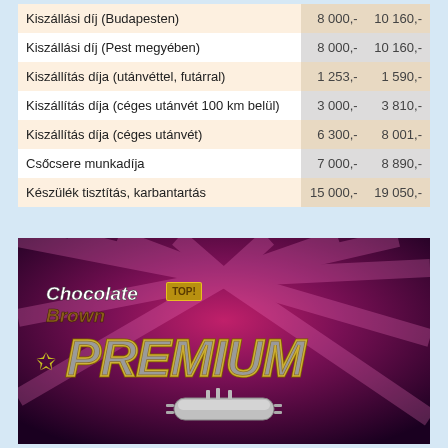|  |  |  |
| --- | --- | --- |
| Kiszállási díj (Budapesten) | 8 000,- | 10 160,- |
| Kiszállási díj (Pest megyében) | 8 000,- | 10 160,- |
| Kiszállítás díja (utánvéttel, futárral) | 1 253,- | 1 590,- |
| Kiszállítás díja (céges utánvét 100 km belül) | 3 000,- | 3 810,- |
| Kiszállítás díja (céges utánvét) | 6 300,- | 8 001,- |
| Csőcsere munkadíja | 7 000,- | 8 890,- |
| Készülék tisztítás, karbantartás | 15 000,- | 19 050,- |
[Figure (photo): Advertisement for Chocolate Brown TOP! PREMIUM tanning product with dark purple/magenta background with light rays and a silver tanning tube at the bottom]